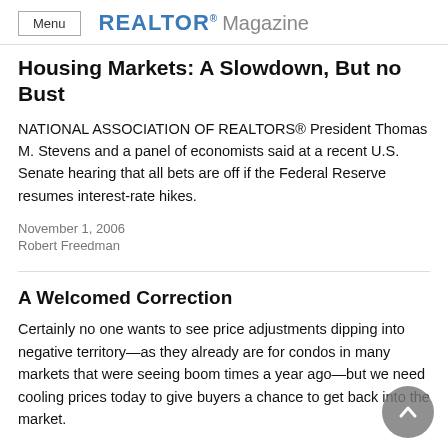Menu  REALTOR® Magazine
Housing Markets: A Slowdown, But no Bust
NATIONAL ASSOCIATION OF REALTORS® President Thomas M. Stevens and a panel of economists said at a recent U.S. Senate hearing that all bets are off if the Federal Reserve resumes interest-rate hikes.
November 1, 2006
Robert Freedman
A Welcomed Correction
Certainly no one wants to see price adjustments dipping into negative territory—as they already are for condos in many markets that were seeing boom times a year ago—but we need cooling prices today to give buyers a chance to get back into the market.